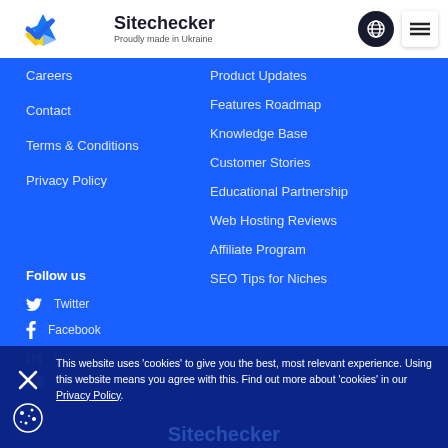Sitechecker – Proudly made in Ukraine
Careers
Contact
Terms & Conditions
Privacy Policy
Product Updates
Features Roadmap
Knowledge Base
Customer Stories
Educational Partnership
Web Hosting Reviews
Affiliate Program
SEO Tips for Niches
Follow us
Twitter
Facebook
LinkedIn
YouTube
This website uses 'cookies' to give you the best, most relevant experience. Using this website means you agree with this. Find out more about 'cookies' in our Privacy Policy.